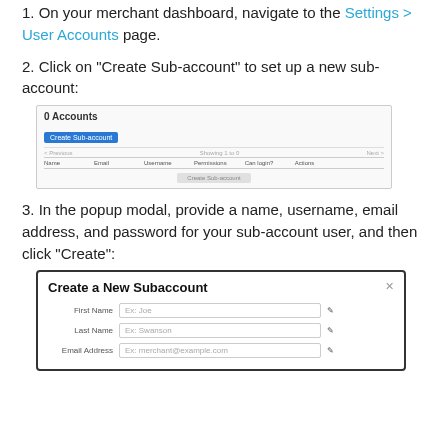1. On your merchant dashboard, navigate to the Settings > User Accounts page.
2. Click on "Create Sub-account" to set up a new sub-account:
[Figure (screenshot): Screenshot of user accounts page showing 0 Accounts, a Create Sub-account button, a navigation row, a table header with columns Name, Email, Username, Permissions, Can login?, Actions, and an empty state row.]
3. In the popup modal, provide a name, username, email address, and password for your sub-account user, and then click “Create”:
[Figure (screenshot): Screenshot of Create a New Subaccount modal with fields for First Name (Ex: Joe), Last Name (Ex: Swanson), and Email Address (Ex: merchant@example.com), each with an edit icon.]